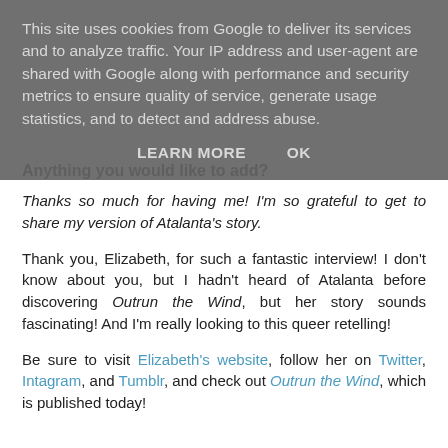This site uses cookies from Google to deliver its services and to analyze traffic. Your IP address and user-agent are shared with Google along with performance and security metrics to ensure quality of service, generate usage statistics, and to detect and address abuse.
LEARN MORE   OK
Anything you would like to add?
Thanks so much for having me! I'm so grateful to get to share my version of Atalanta's story.
Thank you, Elizabeth, for such a fantastic interview! I don't know about you, but I hadn't heard of Atalanta before discovering Outrun the Wind, but her story sounds fascinating! And I'm really looking to this queer retelling!
Be sure to visit Elizabeth's website, follow her on Twitter, Intagram, and Tumblr, and check out Outrun the Wind, which is published today!